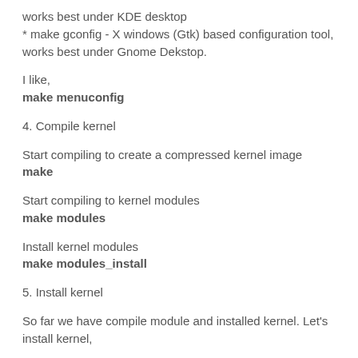works best under KDE desktop
* make gconfig - X windows (Gtk) based configuration tool, works best under Gnome Dekstop.
I like,
make menuconfig
4. Compile kernel
Start compiling to create a compressed kernel image
make
Start compiling to kernel modules
make modules
Install kernel modules
make modules_install
5. Install kernel
So far we have compile module and installed kernel. Let's install kernel,